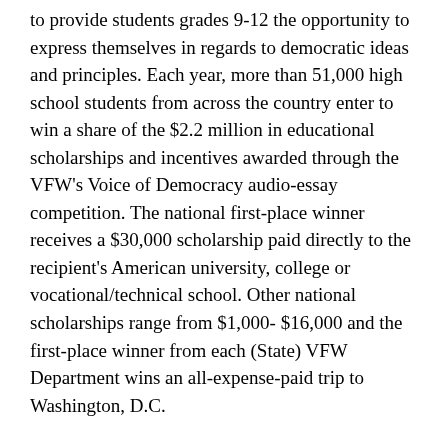to provide students grades 9-12 the opportunity to express themselves in regards to democratic ideas and principles. Each year, more than 51,000 high school students from across the country enter to win a share of the $2.2 million in educational scholarships and incentives awarded through the VFW's Voice of Democracy audio-essay competition. The national first-place winner receives a $30,000 scholarship paid directly to the recipient's American university, college or vocational/technical school. Other national scholarships range from $1,000- $16,000 and the first-place winner from each (State) VFW Department wins an all-expense-paid trip to Washington, D.C.
The Patriot's Pen youth essay-writing contest reviews roughly 112,000 essays from students in grades 6-8. The annual theme is chosen by the VFW Commander-in-Chief. Students may win one of several savings bonds totaling $1.2 million, as well as an all-expense-paid trip to Washington, D.C. for the National first place winner.
For more information on the Patriot's Pen, Voice of